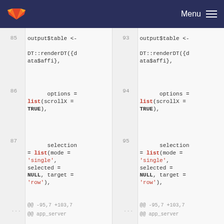Menu (GitLab navigation bar)
85  output$table <-
     DT::renderDT({data$affi},
86
     options = list(scrollX = TRUE),
87
     selection = list(mode = 'single', selected = NULL, target = 'row'),
...  @@ -95,7 +103,7 @@ app_server
93  output$table <-
     DT::renderDT({data$affi},
94
     options = list(scrollX = TRUE),
95
     selection = list(mode = 'single', selected = NULL, target = 'row'),
...  @@ -95,7 +103,7 @@ app_server